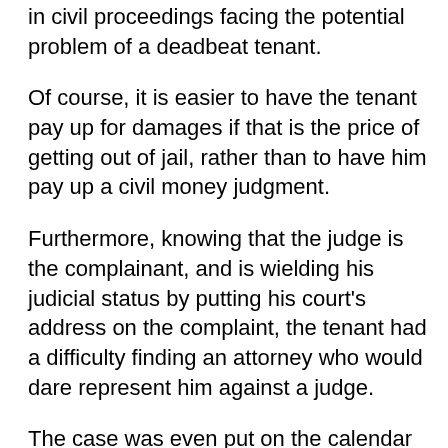in civil proceedings facing the potential problem of a deadbeat tenant.
Of course, it is easier to have the tenant pay up for damages if that is the price of getting out of jail, rather than to have him pay up a civil money judgment.
Furthermore, knowing that the judge is the complainant, and is wielding his judicial status by putting his court's address on the complaint, the tenant had a difficulty finding an attorney who would dare represent him against a judge.
The case was even put on the calendar of Judge Mack, so he was both the Plaintiff and the presiding judge in the same case.  Of course, Judge Mack denied knowledge or collusion with the prosecution, but who is going to believe it? Only "brother judges" on the NC Supreme Court, obviously.